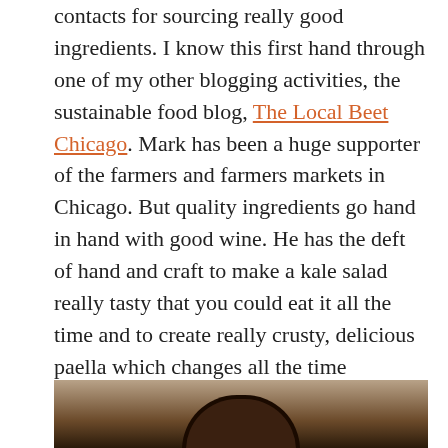He has the appreciation, the experience and the contacts for sourcing really good ingredients. I know this first hand through one of my other blogging activities, the sustainable food blog, The Local Beet Chicago. Mark has been a huge supporter of the farmers and farmers markets in Chicago. But quality ingredients go hand in hand with good wine. He has the deft of hand and craft to make a kale salad really tasty that you could eat it all the time and to create really crusty, delicious paella which changes all the time depending on the ingredients of the week. I could go on about the plates that I love, it just depends on my hunger at the time, budget, and will power: boquerones (anchovies), the tomato bread, the steak, the kale salad, the cheese plate…
[Figure (photo): Partial photo of a dark bowl or pan on a wooden surface, bottom portion of image]